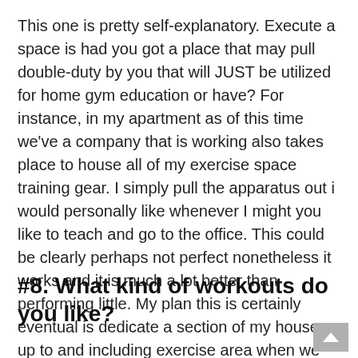This one is pretty self-explanatory. Execute a space is had you got a place that may pull double-duty by you that will JUST be utilized for home gym education or have? For instance, in my apartment as of this time we've a company that is working also takes place to house all of my exercise space training gear. I simply pull the apparatus out i would personally like whenever I might you like to teach and go to the office. This could be clearly perhaps not perfect nonetheless it works and it is much a lot better than performing little. My plan this is certainly eventual is dedicate a section of my house up to and including exercise area when we obtain a residence (hopefully sooner than afterwards!).
#8. What kind of workouts do you like?